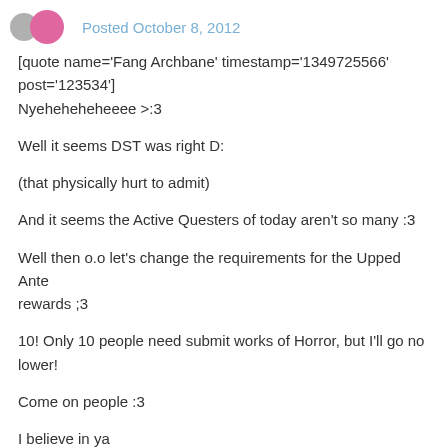Posted October 8, 2012
[quote name='Fang Archbane' timestamp='1349725566' post='123534']
Nyeheheheheeee >:3

Well it seems DST was right D:

(that physically hurt to admit)

And it seems the Active Questers of today aren't so many :3

Well then o.o let's change the requirements for the Upped Ante rewards ;3

10! Only 10 people need submit works of Horror, but I'll go no lower!

Come on people :3

I believe in ya
[/quote]